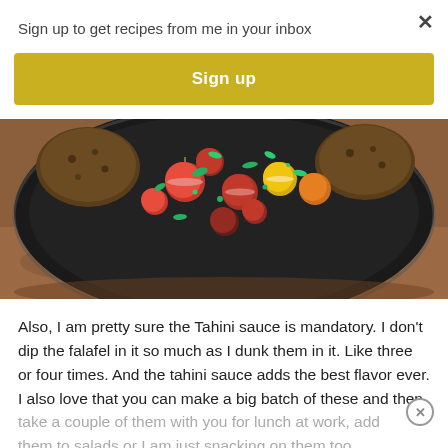Sign up to get recipes from me in your inbox
Sign up
[Figure (photo): Overhead photo of a dark plate with falafel and colorful cherry tomatoes (red, yellow, orange) cut in half, garnished with fresh herbs, on a rustic stone surface.]
Also, I am pretty sure the Tahini sauce is mandatory. I don't dip the falafel in it so much as I dunk them in it. Like three or four times. And the tahini sauce adds the best flavor ever. I also love that you can make a big batch of these and then
take a couple of them with you for lunch at work, add them to salads or I am just snacking on them too. However you